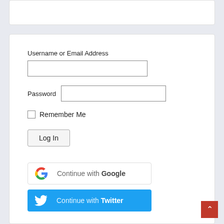[Figure (screenshot): Top white card/panel (partial, header area)]
Username or Email Address
[Figure (screenshot): Text input field for username or email]
Password
[Figure (screenshot): Text input field for password]
Remember Me
[Figure (screenshot): Log In button]
[Figure (screenshot): Continue with Google button with Google logo]
[Figure (screenshot): Continue with Twitter button with Twitter bird logo]